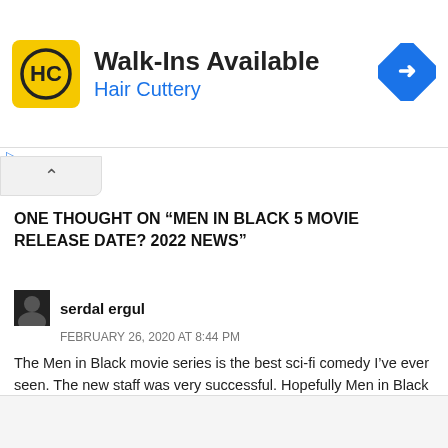[Figure (other): Hair Cuttery advertisement banner with HC logo on yellow background, 'Walk-Ins Available' text, 'Hair Cuttery' in blue, and a blue diamond direction sign icon]
ONE THOUGHT ON “MEN IN BLACK 5 MOVIE RELEASE DATE? 2022 NEWS”
serdal ergul
FEBRUARY 26, 2020 AT 8:44 PM
The Men in Black movie series is the best sci-fi comedy I’ve ever seen. The new staff was very successful. Hopefully Men in Black 5 will arrive in the near future. My guess; release date 2022.
↳ REPLY